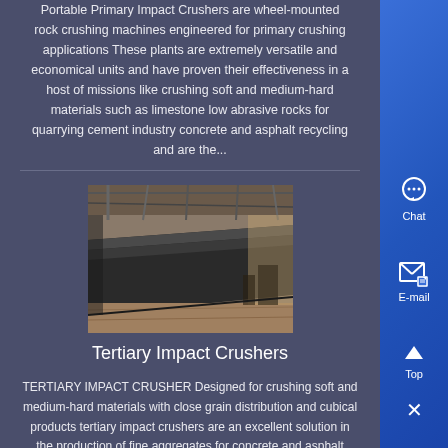Portable Primary Impact Crushers are wheel-mounted rock crushing machines engineered for primary crushing applications These plants are extremely versatile and economical units and have proven their effectiveness in a host of missions like crushing soft and medium-hard materials such as limestone low abrasive rocks for quarrying cement industry concrete and asphalt recycling and are the...
[Figure (photo): Industrial facility interior showing large metal plates or conveyor surfaces in a manufacturing or crushing plant environment]
Tertiary Impact Crushers
TERTIARY IMPACT CRUSHER Designed for crushing soft and medium-hard materials with close grain distribution and cubical products tertiary impact crushers are an excellent solution in the production of fine aggregates for concrete and asphalt applications Adjustable and interchangeable breaker plates enable size